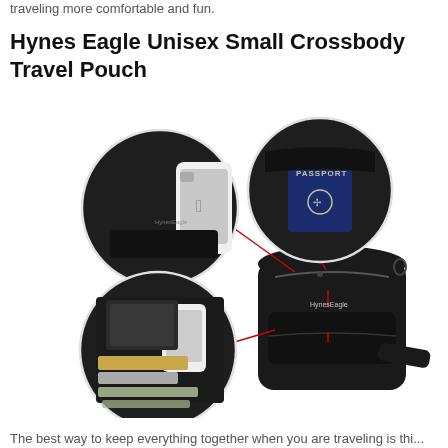traveling more comfortable and fun.
Hynes Eagle Unisex Small Crossbody Travel Pouch
[Figure (photo): Product photo of Hynes Eagle Unisex Small Crossbody Travel Pouch showing the bag and three circular close-up insets: one showing a smartphone in an outer pocket, one showing a passport in the top compartment, and one showing the main compartment interior with phone, cards, and cash.]
The best way to keep everything together when you are traveling is thi...